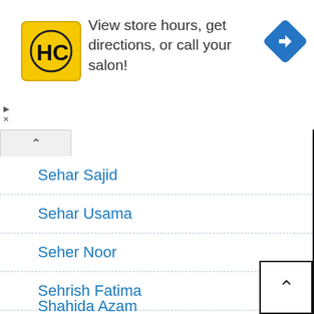[Figure (infographic): Advertisement banner for a salon locator service. Shows HC (Hair Club) logo in yellow square, text 'View store hours, get directions, or call your salon!', and a blue navigation/directions diamond icon on the right.]
Sehar Sajid
Sehar Usama
Seher Noor
Sehrish Fatima
Shafaq Kazmi
Shagufta Bhatti
Shah Khawar Tanha
Shaheen Rose
Shaheena Chanda
Shahida Azam